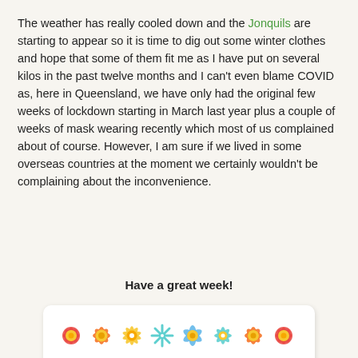The weather has really cooled down and the Jonquils are starting to appear so it is time to dig out some winter clothes and hope that some of them fit me as I have put on several kilos in the past twelve months and I can't even blame COVID as, here in Queensland, we have only had the original few weeks of lockdown starting in March last year plus a couple of weeks of mask wearing recently which most of us complained about of course. However, I am sure if we lived in some overseas countries at the moment we certainly wouldn't be complaining about the inconvenience.
Have a great week!
[Figure (illustration): A decorative row of colorful floral/snowflake ornament icons (red, orange, yellow, teal, blue) inside a white rounded rectangle box]